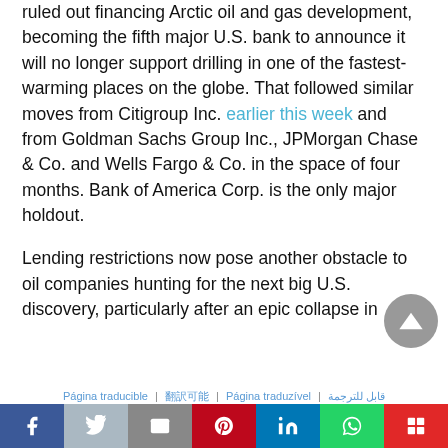ruled out financing Arctic oil and gas development, becoming the fifth major U.S. bank to announce it will no longer support drilling in one of the fastest-warming places on the globe. That followed similar moves from Citigroup Inc. earlier this week and from Goldman Sachs Group Inc., JPMorgan Chase & Co. and Wells Fargo & Co. in the space of four months. Bank of America Corp. is the only major holdout.
Lending restrictions now pose another obstacle to oil companies hunting for the next big U.S. discovery, particularly after an epic collapse in
Página traducible | 翻訳可能 | Página traduzível | قابل للترجمة
Social share bar: Facebook, Twitter, Email, Pinterest, LinkedIn, WhatsApp, Flipboard